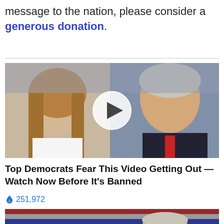message to the nation, please consider a generous donation.
[Figure (photo): Photo of two people (a woman with long blonde hair in white and a man in dark suit with red tie) with a video play button overlay in the center]
Top Democrats Fear This Video Getting Out — Watch Now Before It's Banned
🔥 251,972
[Figure (photo): Partial photo showing American flag and a person's face at the bottom of the page]